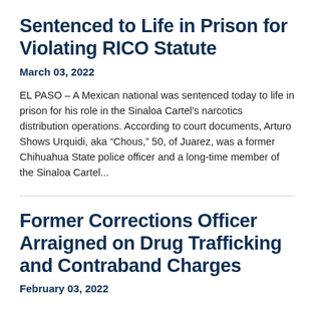Sentenced to Life in Prison for Violating RICO Statute
March 03, 2022
EL PASO – A Mexican national was sentenced today to life in prison for his role in the Sinaloa Cartel's narcotics distribution operations. According to court documents, Arturo Shows Urquidi, aka “Chous,” 50, of Juarez, was a former Chihuahua State police officer and a long-time member of the Sinaloa Cartel...
Former Corrections Officer Arraigned on Drug Trafficking and Contraband Charges
February 03, 2022